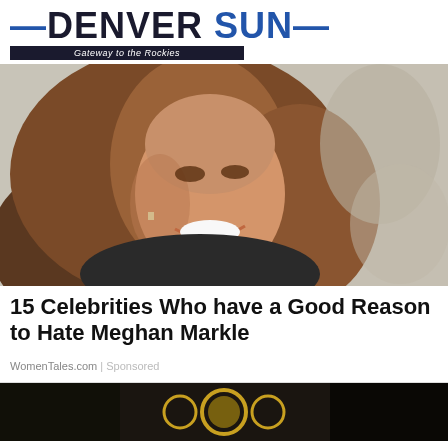DENVER SUN — Gateway to the Rockies
[Figure (photo): Close-up photo of a smiling woman with long brown hair, wearing a dark top and small earrings, photographed outdoors]
15 Celebrities Who have a Good Reason to Hate Meghan Markle
WomenTales.com | Sponsored
[Figure (photo): Partial photo at bottom of page showing dark background with gold/yellow circular elements]